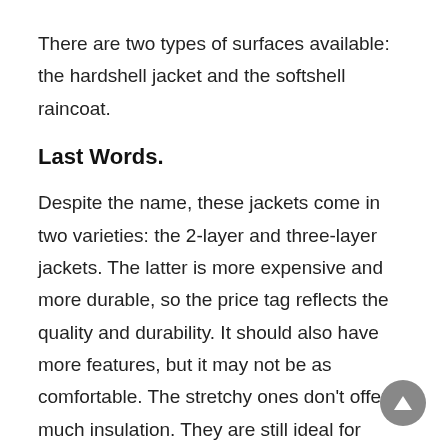There are two types of surfaces available: the hardshell jacket and the softshell raincoat.
Last Words.
Despite the name, these jackets come in two varieties: the 2-layer and three-layer jackets. The latter is more expensive and more durable, so the price tag reflects the quality and durability. It should also have more features, but it may not be as comfortable. The stretchy ones don't offer much insulation. They are still ideal for shoulder-season conditions. You can find more detailed information on the various models of rain jackets on REI's website.